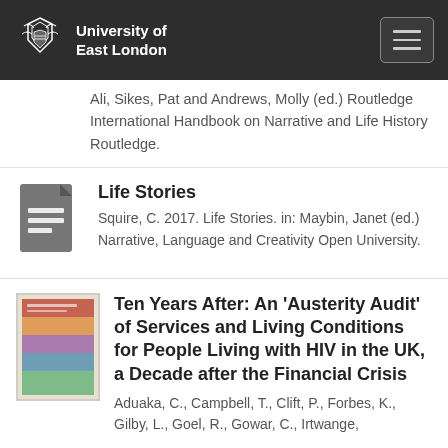University of East London
Ali, Sikes, Pat and Andrews, Molly (ed.) Routledge International Handbook on Narrative and Life History Routledge.
Life Stories
Squire, C. 2017. Life Stories. in: Maybin, Janet (ed.) Narrative, Language and Creativity Open University.
Ten Years After: An ‘Austerity Audit’ of Services and Living Conditions for People Living with HIV in the UK, a Decade after the Financial Crisis
Aduaka, C., Campbell, T., Clift, P., Forbes, K., Gilby, L., Goel, R., Gowar, C., Irtwange,